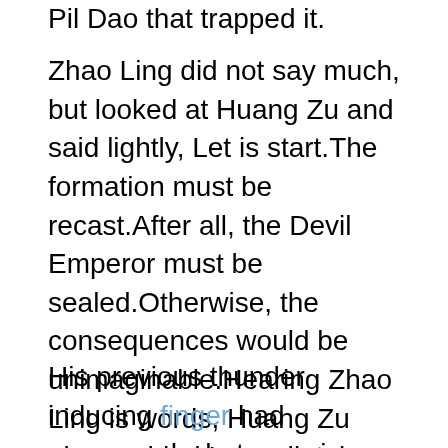Pil Dao that trapped it.
Zhao Ling did not say much, but looked at Huang Zu and said lightly, Let is start.The formation must be recast.After all, the Devil Emperor must be sealed.Otherwise, the consequences would be unimaginable.Hearing Zhao Ling is words, Huang Zu also nodded.Immediately after, she stretched out her fingers and flicked them.Suddenly, a brilliant flame rushed up.This flame fell directly on the Nine Heavens blood pressure 100 over 71 Herbal Remedy High Blood Pressure Ten Thousand Phoenix Formation.Soon, the formation began to work.Immediately afterwards, terrifying flames burst out suddenly, overwhelming the sky and slamming on the formation.
His previous thunder inducing finger had consumed what exercise reduces blood pressure most of his spiritual energy.And although Zhao Ling turned the fire of the center of the earth into a blade of purple fire, he also consumed a lot of